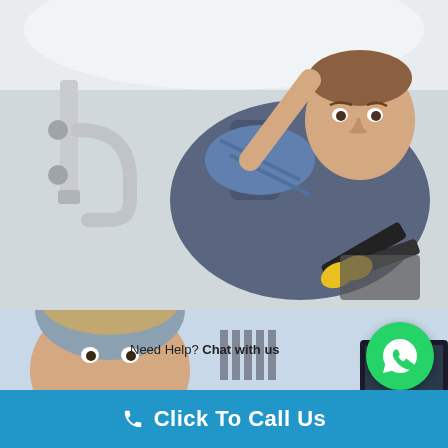[Figure (photo): A male plumber lying on the floor working under a bathroom sink, using yellow-handled pliers/wrench on chrome pipes, wearing a blue plaid shirt and gray overalls, with a toolbox visible nearby]
[Figure (photo): Partial view of a second plumber/technician looking forward, with tools visible in the background, overlaid with a WhatsApp chat widget showing 'Need Help? Chat with us' and a green WhatsApp circle icon]
Need Help? Chat with us
Click To Call Us